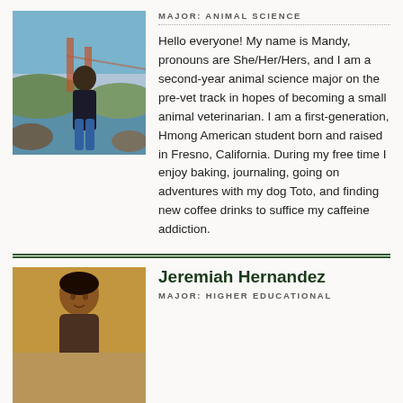[Figure (photo): Young woman standing near the Golden Gate Bridge area, wearing a dark top and jeans, with water and landscape in the background.]
MAJOR: ANIMAL SCIENCE
Hello everyone! My name is Mandy, pronouns are She/Her/Hers, and I am a second-year animal science major on the pre-vet track in hopes of becoming a small animal veterinarian. I am a first-generation, Hmong American student born and raised in Fresno, California. During my free time I enjoy baking, journaling, going on adventures with my dog Toto, and finding new coffee drinks to suffice my caffeine addiction.
Jeremiah Hernandez
MAJOR: HIGHER EDUCATIONAL
[Figure (photo): Man in a room with warm golden/brown background tones, partial view from mid-torso up.]